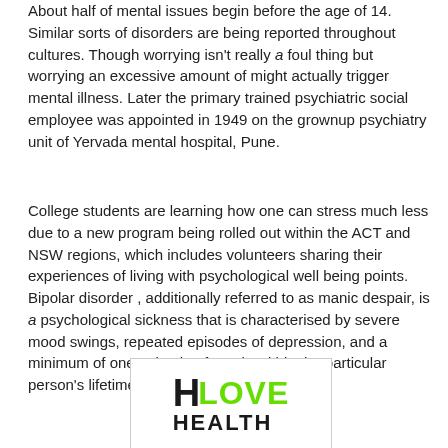About half of mental issues begin before the age of 14. Similar sorts of disorders are being reported throughout cultures. Though worrying isn't really a foul thing but worrying an excessive amount of might actually trigger mental illness. Later the primary trained psychiatric social employee was appointed in 1949 on the grownup psychiatry unit of Yervada mental hospital, Pune.
College students are learning how one can stress much less due to a new program being rolled out within the ACT and NSW regions, which includes volunteers sharing their experiences of living with psychological well being points. Bipolar disorder , additionally referred to as manic despair, is a psychological sickness that is characterised by severe mood swings, repeated episodes of depression, and a minimum of one episode of mania within the particular person's lifetime.
[Figure (logo): A logo showing 'H LOVE HEALTH' where LOVE is in bright green and H and HEALTH are in black distressed text style.]